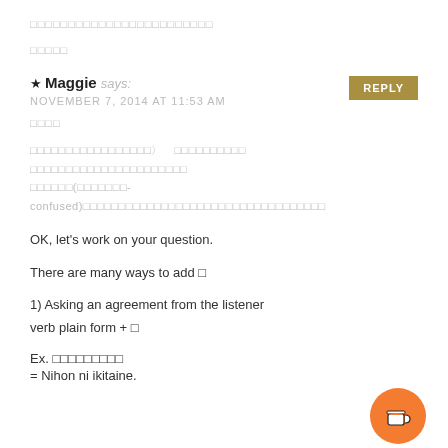□□□□□□□□□□□□□□□□□□□□□□□□
□□□□□
★ Maggie says:
NOVEMBER 7, 2014 AT 11:53 AM
□□□□
□□□□□□□□□□□□□□□□□〉　□□□□□□□□□□
□□□□□□□□□□□□□□□□□□□□□□
□□□□□□(□□□□□□□-confused)□□□□□□□□□□□□□□□□□□□□□□□□□□□□□□□□□□
OK, let's work on your question.
There are many ways to add □
1) Asking an agreement from the listener
verb plain form + □
Ex. □□□□□□□□□
= Nihon ni ikitaine.